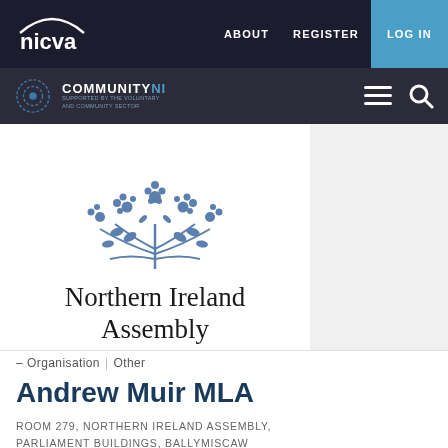nicva | ABOUT  REGISTER  LOG IN
[Figure (logo): NICVA logo with white arc above text on dark background]
[Figure (logo): CommunityNI logo with circular dotted icon]
[Figure (logo): Northern Ireland Assembly floral emblem with text 'Northern Ireland Assembly']
– Organisation | Other
Andrew Muir MLA
ROOM 279, NORTHERN IRELAND ASSEMBLY, PARLIAMENT BUILDINGS, BALLYMISCAW